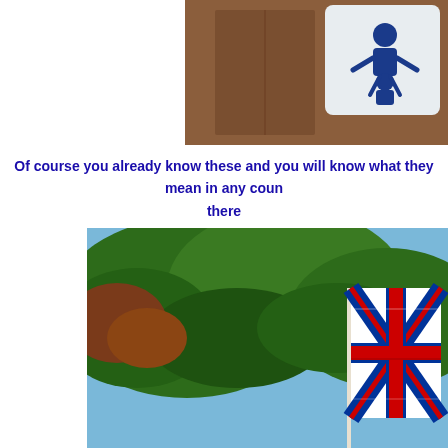[Figure (photo): A baby changing sign on a wooden door — white sign with blue pictogram of adult holding a baby]
Of course you already know these and you will know what they mean in any coun there
[Figure (photo): A Union Jack (UK flag) being held up in front of green trees against a blue sky]